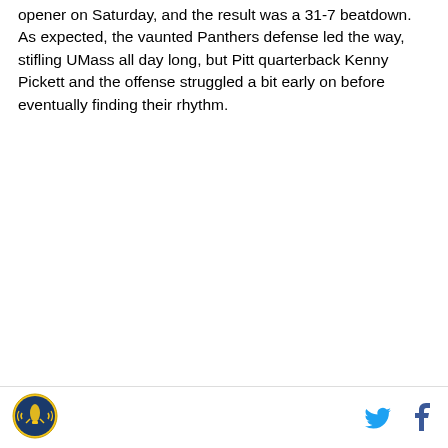opener on Saturday, and the result was a 31-7 beatdown. As expected, the vaunted Panthers defense led the way, stifling UMass all day long, but Pitt quarterback Kenny Pickett and the offense struggled a bit early on before eventually finding their rhythm.
Logo and social share icons (Twitter, Facebook)